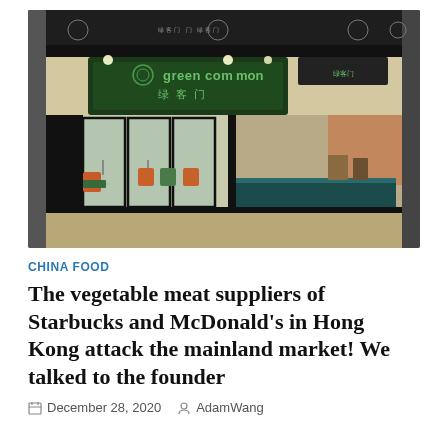[Figure (photo): Exterior storefront of Green Common (绿客门) restaurant/store in Hong Kong, showing glass facade, green signage with logo, interior dining area with orange chairs and green tables visible through glass]
CHINA FOOD
The vegetable meat suppliers of Starbucks and McDonald's in Hong Kong attack the mainland market! We talked to the founder
December 28, 2020   AdamWang